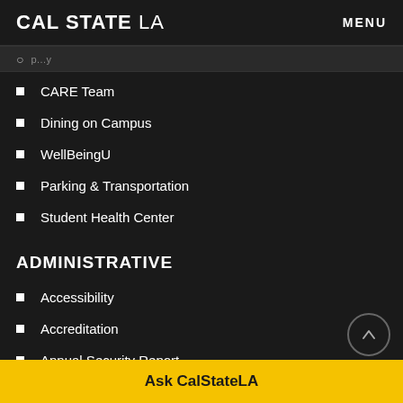CAL STATE LA   MENU
...p...y
CARE Team
Dining on Campus
WellBeingU
Parking & Transportation
Student Health Center
ADMINISTRATIVE
Accessibility
Accreditation
Annual Security Report
Campus Safety Plan
CSU Sy...
Ask CalStateLA